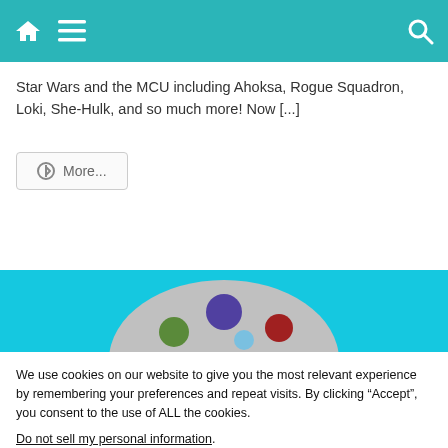Navigation bar with home, menu, and search icons
Star Wars and the MCU including Ahoksa, Rogue Squadron, Loki, She-Hulk, and so much more! Now [...]
More...
[Figure (illustration): A paint palette illustration with colored blobs (green, purple/blue, red) on a grey circular palette, on a bright cyan/blue background strip]
We use cookies on our website to give you the most relevant experience by remembering your preferences and repeat visits. By clicking “Accept”, you consent to the use of ALL the cookies.
Do not sell my personal information.
Cookie settings  ACCEPT